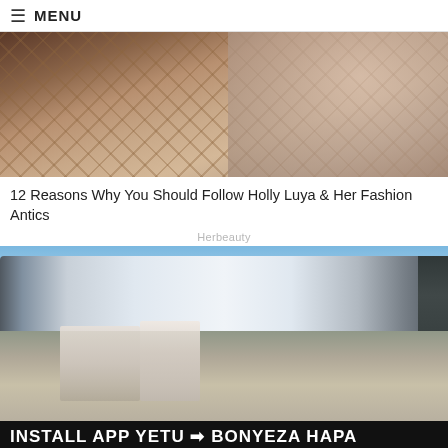≡ MENU
[Figure (photo): Woman in black bikini top lying in a rope hammock, close-up portrait shot]
12 Reasons Why You Should Follow Holly Luya & Her Fashion Antics
Herbeauty
[Figure (photo): Man and woman standing in front of a private jet on a tarmac; woman has blonde hair and yellow handbag]
INSTALL APP YETU ➔ BONYEZA HAPA
[Figure (photo): Bottom partial image strip, partially visible]